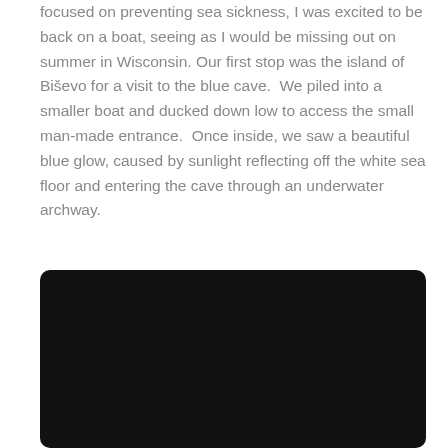focused on preventing sea sickness, I was excited to be back on a boat, seeing as I would be missing out on summer in Wisconsin. Our first stop was the island of Biševo for a visit to the blue cave.  We piled into a smaller boat and ducked down low to access the small man-made entrance.  Once inside, we saw a beautiful blue glow, caused by sunlight reflecting off the white sea floor and entering the cave through an underwater archway.
[Figure (photo): A nearly black/very dark photo, likely taken inside the blue cave or in low light conditions, showing minimal visible detail against a dark background.]